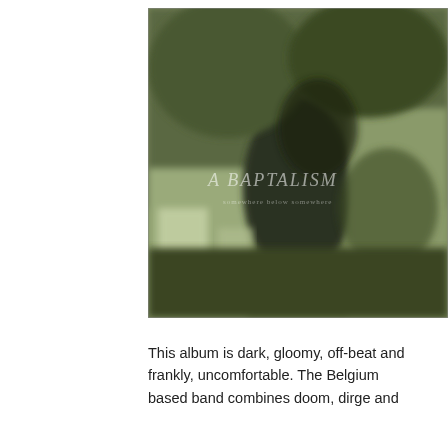[Figure (photo): Blurry, desaturated olive-green toned album cover photograph showing figures in motion in what appears to be a cemetery or outdoor setting, with faint text overlaid reading something like 'A BAPTALISM' or similar.]
This album is dark, gloomy, off-beat and frankly, uncomfortable. The Belgium based band combines doom, dirge and